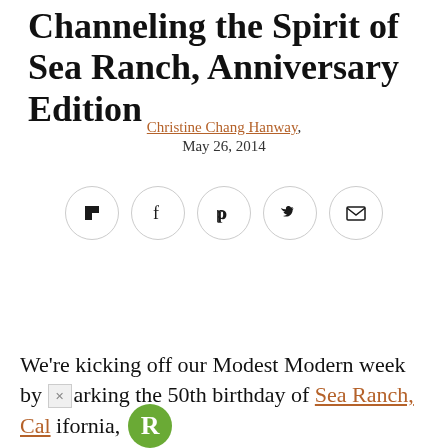Channeling the Spirit of Sea Ranch, Anniversary Edition
Christine Chang Hanway, May 26, 2014
[Figure (other): Social share buttons: Flipboard, Facebook, Pinterest, Twitter, Email]
We're kicking off our Modest Modern week by marking the 50th birthday of Sea Ranch, California,